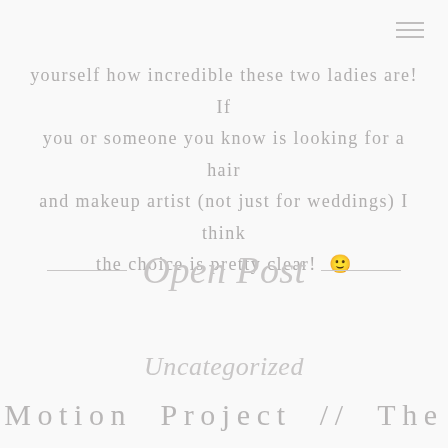yourself how incredible these two ladies are! If you or someone you know is looking for a hair and makeup artist (not just for weddings) I think the choice is pretty clear! 🙂
Open Post
Uncategorized
Motion Project // The